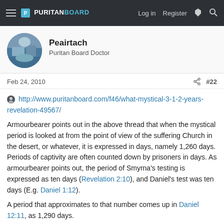PURITANBOARD — Log in  Register
Peairtach
Puritan Board Doctor
Feb 24, 2010  #22
http://www.puritanboard.com/f46/what-mystical-3-1-2-years-revelation-49567/
Armourbearer points out in the above thread that when the mystical period is looked at from the point of view of the suffering Church in the desert, or whatever, it is expressed in days, namely 1,260 days. Periods of captivity are often counted down by prisoners in days. As armourbearer points out, the period of Smyrna's testing is expressed as ten days (Revelation 2:10), and Daniel's test was ten days (E.g. Daniel 1:12).
A period that approximates to that number comes up in Daniel 12:11, as 1,290 days.